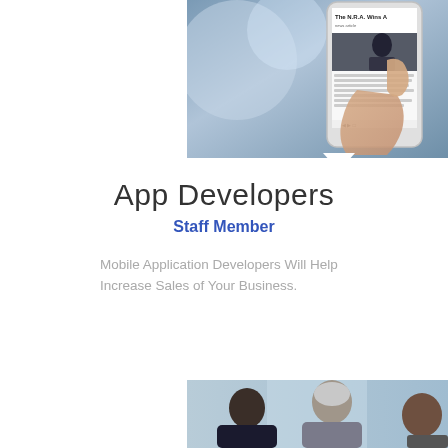[Figure (photo): Hand holding a smartphone displaying a news article with headline 'The N.R.A. Wins A' and a photo of a man in a suit]
App Developers
Staff Member
Mobile Application Developers Will Help Increase Sales of Your Business.
[Figure (photo): Three business people in a meeting, including a younger dark-haired man, an older gray-haired man in a suit, and a partial view of a third person]